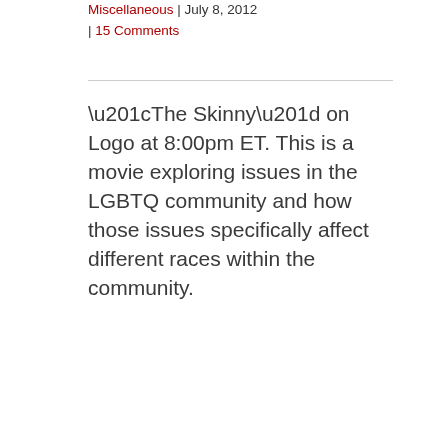Miscellaneous | July 8, 2012 | 15 Comments
“The Skinny” on Logo at 8:00pm ET. This is a movie exploring issues in the LGBTQ community and how those issues specifically affect different races within the community.